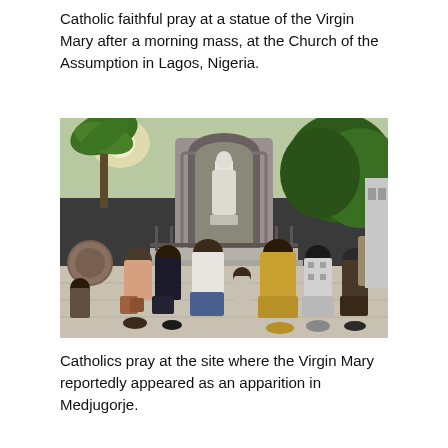Catholic faithful pray at a statue of the Virgin Mary after a morning mass, at the Church of the Assumption in Lagos, Nigeria.
[Figure (photo): A group of Catholic faithful kneeling in prayer before a statue of the Virgin Mary set in a stone arch niche, at the Church of the Assumption in Lagos, Nigeria. People of various ages, including a child, are seen from behind with arms outstretched toward the statue. Green trees and foliage are visible in the background.]
Catholics pray at the site where the Virgin Mary reportedly appeared as an apparition in Medjugorje.